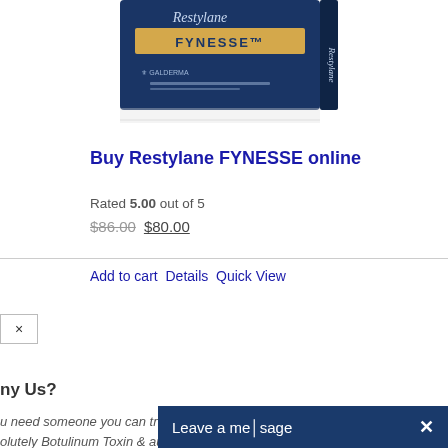[Figure (photo): Restylane FYNESSE product box — navy blue box with gold/tan stripe, Calderma branding, partially cropped at top]
Buy Restylane FYNESSE online
Rated 5.00 out of 5
$86.00  $80.00
Add to cart  Details  Quick View
ny Us?
u need someone you can trust when it co... olutely Botulinum Toxin & authentic filler a...
Leave a message